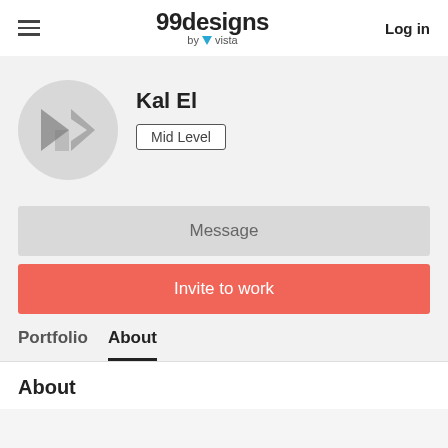99designs by vista | Log in
[Figure (logo): 99designs by vista logo with hamburger menu and Log in button]
Kal El
Mid Level
Message
Invite to work
Portfolio
About
About